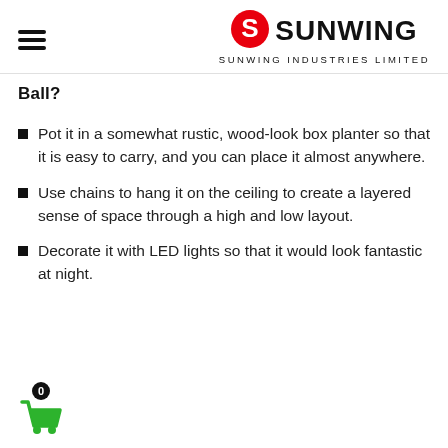Sunwing Industries Limited
Ball?
Pot it in a somewhat rustic, wood-look box planter so that it is easy to carry, and you can place it almost anywhere.
Use chains to hang it on the ceiling to create a layered sense of space through a high and low layout.
Decorate it with LED lights so that it would look fantastic at night.
[Figure (logo): Shopping cart icon with badge showing 0]